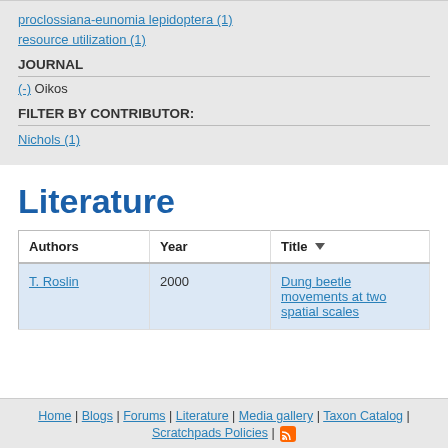proclossiana-eunomia lepidoptera (1)
resource utilization (1)
JOURNAL
(-) Oikos
FILTER BY CONTRIBUTOR:
Nichols (1)
Literature
| Authors | Year | Title |
| --- | --- | --- |
| T. Roslin | 2000 | Dung beetle movements at two spatial scales |
Home | Blogs | Forums | Literature | Media gallery | Taxon Catalog | Scratchpads Policies | [RSS]